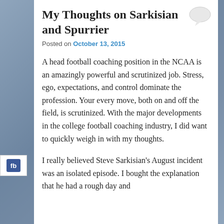My Thoughts on Sarkisian and Spurrier
Posted on October 13, 2015
A head football coaching position in the NCAA is an amazingly powerful and scrutinized job. Stress, ego, expectations, and control dominate the profession. Your every move, both on and off the field, is scrutinized. With the major developments in the college football coaching industry, I did want to quickly weigh in with my thoughts.
I really believed Steve Sarkisian's August incident was an isolated episode. I bought the explanation that he had a rough day and